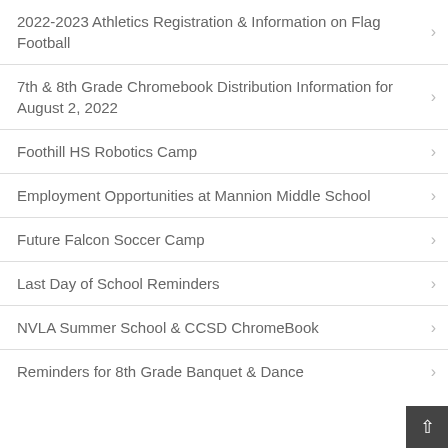2022-2023 Athletics Registration & Information on Flag Football
7th & 8th Grade Chromebook Distribution Information for August 2, 2022
Foothill HS Robotics Camp
Employment Opportunities at Mannion Middle School
Future Falcon Soccer Camp
Last Day of School Reminders
NVLA Summer School & CCSD ChromeBook
Reminders for 8th Grade Banquet & Dance